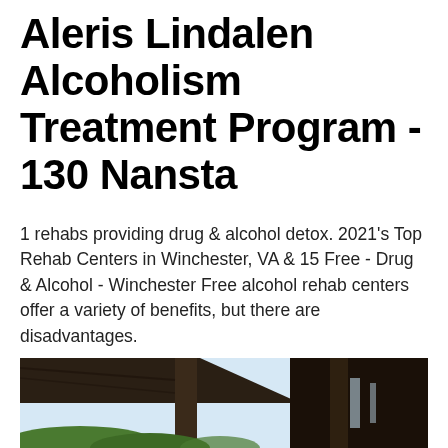Aleris Lindalen Alcoholism Treatment Program - 130 Nansta
1 rehabs providing drug & alcohol detox. 2021's Top Rehab Centers in Winchester, VA & 15 Free - Drug & Alcohol - Winchester Free alcohol rehab centers offer a variety of benefits, but there are disadvantages.
[Figure (photo): Photograph showing the interior/underside of a covered wooden structure or bridge, with visible wooden beams and posts, light sky and green foliage visible in the background.]